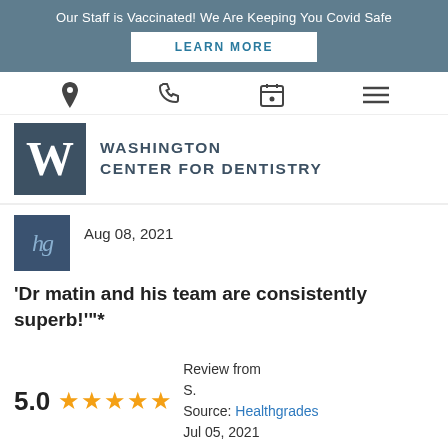Our Staff is Vaccinated! We Are Keeping You Covid Safe
LEARN MORE
[Figure (logo): Washington Center for Dentistry logo with W monogram in dark blue box]
Aug 08, 2021
‘Dr matin and his team are consistently superb!"’*
5.0 ★★★★★ Review from S. Source: Healthgrades Jul 05, 2021